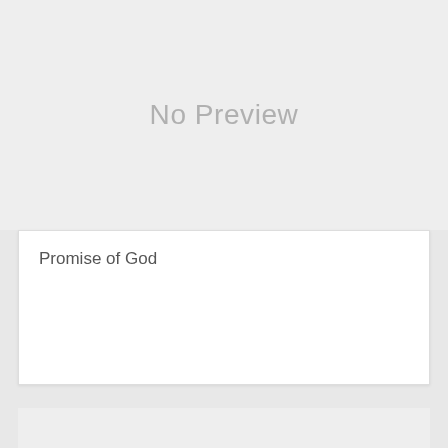[Figure (other): No Preview placeholder area (top)]
Promise of God
[Figure (other): No Preview placeholder area (bottom)]